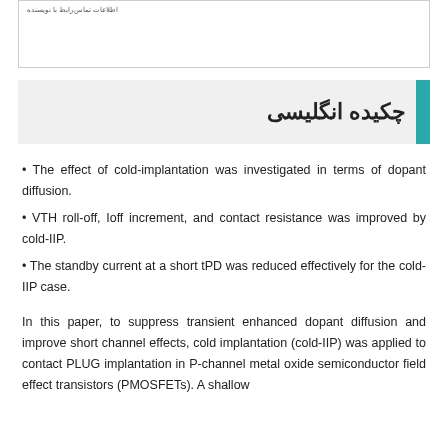(truncated reference text at top)
چکیده انگلیسی
• The effect of cold-implantation was investigated in terms of dopant diffusion.
• VTH roll-off, Ioff increment, and contact resistance was improved by cold-IIP.
• The standby current at a short tPD was reduced effectively for the cold-IIP case.
In this paper, to suppress transient enhanced dopant diffusion and improve short channel effects, cold implantation (cold-IIP) was applied to contact PLUG implantation in P-channel metal oxide semiconductor field effect transistors (PMOSFETs). A shallow...